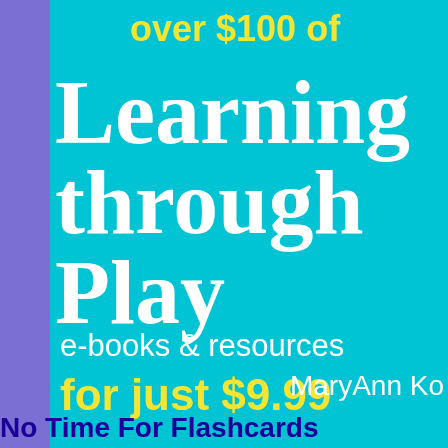over $100 of
Learning through Play
e-books & resources
for just $9.99
MaryAnn Ko
No Time For Flashcards